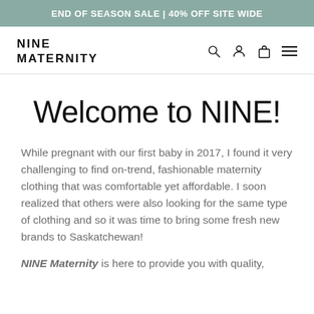END OF SEASON SALE | 40% OFF SITE WIDE
NINE MATERNITY
Welcome to NINE!
While pregnant with our first baby in 2017, I found it very challenging to find on-trend, fashionable maternity clothing that was comfortable yet affordable. I soon realized that others were also looking for the same type of clothing and so it was time to bring some fresh new brands to Saskatchewan!
NINE Maternity is here to provide you with quality,